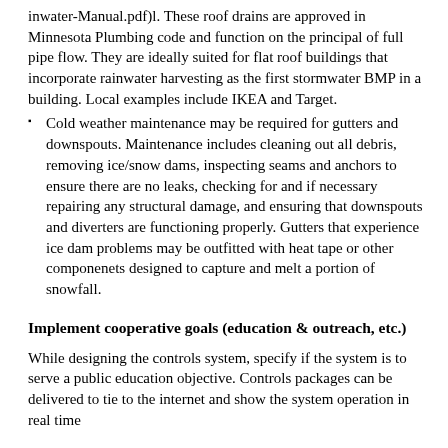inwater-Manual.pdf)l. These roof drains are approved in Minnesota Plumbing code and function on the principal of full pipe flow. They are ideally suited for flat roof buildings that incorporate rainwater harvesting as the first stormwater BMP in a building. Local examples include IKEA and Target.
Cold weather maintenance may be required for gutters and downspouts. Maintenance includes cleaning out all debris, removing ice/snow dams, inspecting seams and anchors to ensure there are no leaks, checking for and if necessary repairing any structural damage, and ensuring that downspouts and diverters are functioning properly. Gutters that experience ice dam problems may be outfitted with heat tape or other componenets designed to capture and melt a portion of snowfall.
Implement cooperative goals (education & outreach, etc.)
While designing the controls system, specify if the system is to serve a public education objective. Controls packages can be delivered to tie to the internet and show the system operation in real time
Treatment
Stormwater harvesting and use systems will typically contain one or